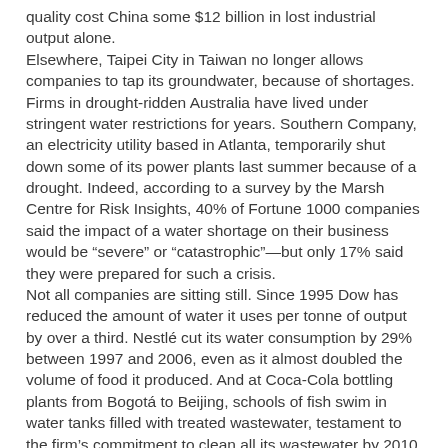quality cost China some $12 billion in lost industrial output alone. Elsewhere, Taipei City in Taiwan no longer allows companies to tap its groundwater, because of shortages. Firms in drought-ridden Australia have lived under stringent water restrictions for years. Southern Company, an electricity utility based in Atlanta, temporarily shut down some of its power plants last summer because of a drought. Indeed, according to a survey by the Marsh Centre for Risk Insights, 40% of Fortune 1000 companies said the impact of a water shortage on their business would be “severe” or “catastrophic”—but only 17% said they were prepared for such a crisis. Not all companies are sitting still. Since 1995 Dow has reduced the amount of water it uses per tonne of output by over a third. Nestlé cut its water consumption by 29% between 1997 and 2006, even as it almost doubled the volume of food it produced. And at Coca-Cola bottling plants from Bogotá to Beijing, schools of fish swim in water tanks filled with treated wastewater, testament to the firm’s commitment to clean all its wastewater by 2010 (it is 84% of the way there). Cynics say such programmes are mere public relations